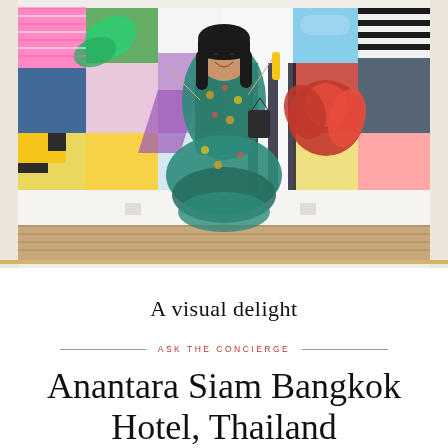[Figure (photo): Woman in a colorful floral dress standing and laughing in front of a large vibrant abstract mural with geometric shapes and bright colors including yellow, pink, red, green, and blue panels]
A visual delight
ASK THE CONCIERGE
Anantara Siam Bangkok Hotel, Thailand